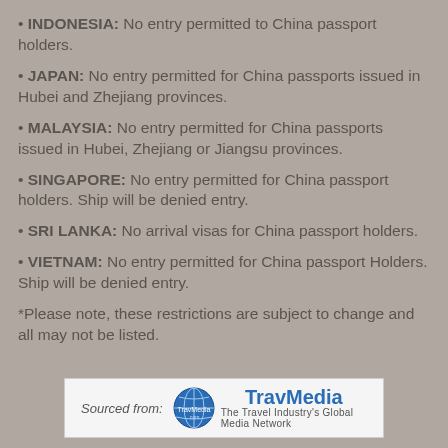INDONESIA: No entry permitted to China passport holders.
JAPAN: No entry permitted for China passports issued in Hubei and Zhejiang provinces.
MALAYSIA: No entry permitted for China passports issued in Hubei, Zhejiang or Jiangsu provinces.
SINGAPORE: No entry permitted for China passport holders. Ship will be denied entry.
SRI LANKA: No arrival visas for China passport holders.
VIETNAM: No entry permitted for China passport Holders. Ship will be denied entry.
*Please note, these restrictions are subject to change and all may not be listed.
[Figure (logo): TravMedia logo with globe icon and tagline 'The Travel Industry's Global Media Network', sourced from TravMedia.com]